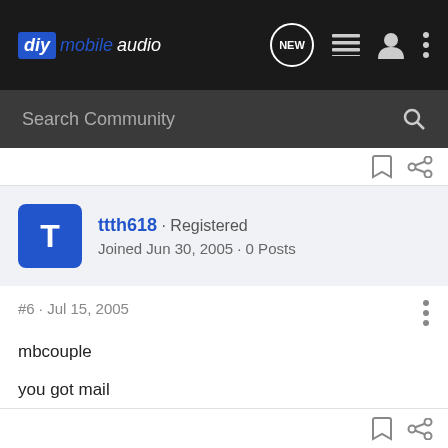diy mobile audio
Search Community
ttth618 · Registered
Joined Jun 30, 2005 · 0 Posts
#6 · Jul 15, 2005
mbcouple

you got mail